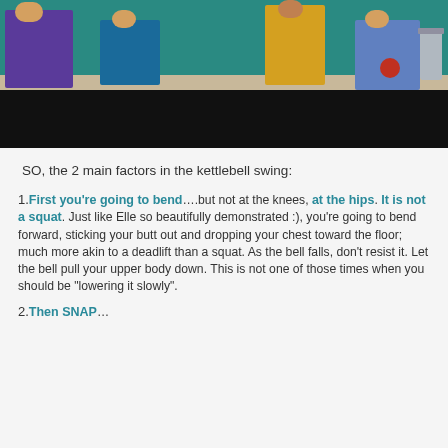[Figure (photo): Photo of people in a gym setting demonstrating kettlebell exercise, with a black bar at the bottom]
SO, the 2 main factors in the kettlebell swing:
1. First you're going to bend....but not at the knees, at the hips. It is not a squat. Just like Elle so beautifully demonstrated :), you're going to bend forward, sticking your butt out and dropping your chest toward the floor; much more akin to a deadlift than a squat. As the bell falls, don't resist it. Let the bell pull your upper body down. This is not one of those times when you should be "lowering it slowly".
2. Then SNAP...